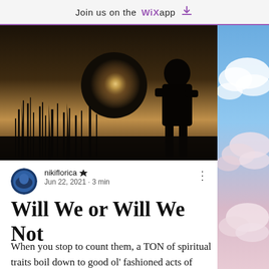Join us on the WiX app ⬇
[Figure (photo): Dark moody silhouette of a person in a foggy field with tall grass and bright sun in background, sepia/dark tones]
[Figure (photo): Cloudy sky with blue and pink-tinted clouds on right side of page]
nikiflorica 👑 Jun 22, 2021 · 3 min
Will We or Will We Not
When you stop to count them, a TON of spiritual traits boil down to good ol' fashioned acts of will. Prayerfulness. Forgiveness. Thankfulness. Selflessness. Love. Even faith. We love to think of being